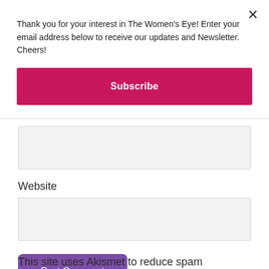Thank you for your interest in The Women's Eye! Enter your email address below to receive our updates and Newsletter. Cheers!
Subscribe
Website
Post Comment
This site uses Akismet to reduce spam